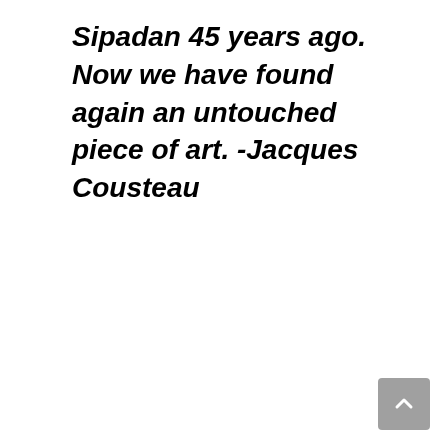Sipadan 45 years ago. Now we have found again an untouched piece of art. -Jacques Cousteau